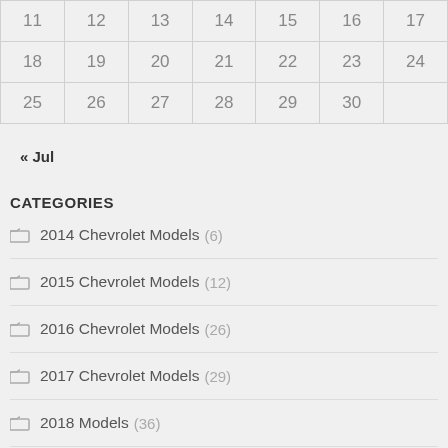| 11 | 12 | 13 | 14 | 15 | 16 | 17 |
| 18 | 19 | 20 | 21 | 22 | 23 | 24 |
| 25 | 26 | 27 | 28 | 29 | 30 |  |
« Jul
CATEGORIES
2014 Chevrolet Models (6)
2015 Chevrolet Models (12)
2016 Chevrolet Models (26)
2017 Chevrolet Models (29)
2018 Models (36)
2019 Models (47)